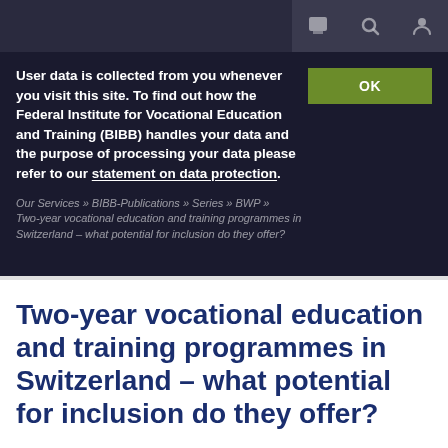[Figure (screenshot): Website top navigation bar with icons for chat, search, and user account on dark background]
User data is collected from you whenever you visit this site. To find out how the Federal Institute for Vocational Education and Training (BIBB) handles your data and the purpose of processing your data please refer to our statement on data protection.
Our Services » BIBB-Publications » Series » BWP » Two-year vocational education and training programmes in Switzerland – what potential for inclusion do they offer?
Two-year vocational education and training programmes in Switzerland – what potential for inclusion do they offer?